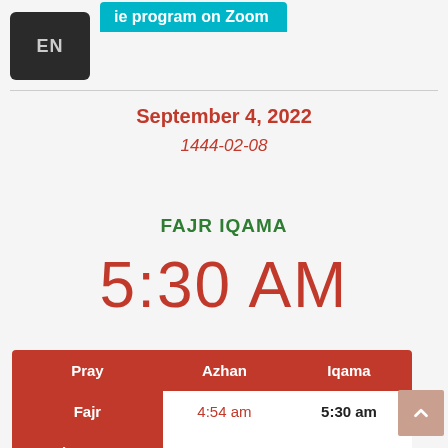ie program on Zoom
EN
September 4, 2022
1444-02-08
FAJR IQAMA
5:30 AM
| Pray | Azhan | Iqama |
| --- | --- | --- |
| Fajr | 4:54 am | 5:30 am |
| Shourouq |  | 6:18 am |